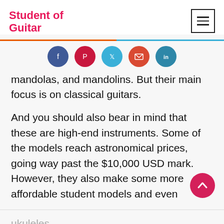Student of Guitar
[Figure (infographic): Five social media share buttons: Facebook (blue), Pinterest (dark red), Twitter (light blue), Email (red-orange), LinkedIn (teal blue)]
mandolas, and mandolins. But their main focus is on classical guitars.
And you should also bear in mind that these are high-end instruments. Some of the models reach astronomical prices, going way past the $10,000 USD mark. However, they also make some more affordable student models and even
ukuleles.